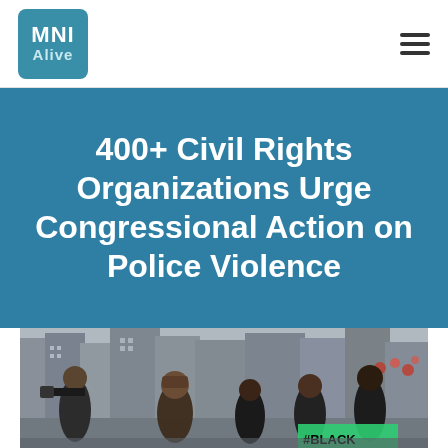MNI Alive
400+ Civil Rights Organizations Urge Congressional Action on Police Violence
[Figure (photo): Protest march scene showing demonstrators in winter clothing on a city street. One person holds a sign reading #BLACK. A camera operator is visible on the left. Buildings and decorations visible in the background.]